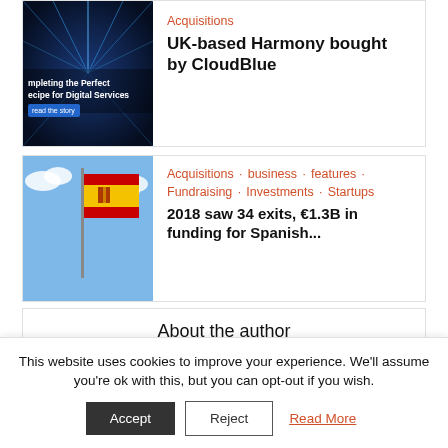[Figure (photo): Thumbnail image with digital blue light pattern, partially visible, with text 'mpleting the Perfect ecipe for Digital Services' overlaid]
UK-based Harmony bought by CloudBlue
[Figure (photo): Thumbnail image of a Spanish flag waving against a sky background]
Acquisitions · business · features · Fundraising · Investments · Startups
2018 saw 34 exits, €1.3B in funding for Spanish...
About the author
[Figure (photo): Circular avatar image of a person holding a camera up to their face, black and white photo]
This website uses cookies to improve your experience. We'll assume you're ok with this, but you can opt-out if you wish.
Accept   Reject   Read More